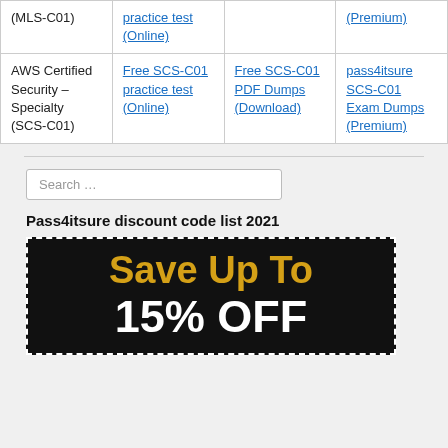|  |  |  |  |
| --- | --- | --- | --- |
| (MLS-C01) | practice test (Online) |  | (Premium) |
| AWS Certified Security – Specialty (SCS-C01) | Free SCS-C01 practice test (Online) | Free SCS-C01 PDF Dumps (Download) | pass4itsure SCS-C01 Exam Dumps (Premium) |
Search …
Pass4itsure discount code list 2021
[Figure (infographic): Black banner with dashed white border showing 'Save Up To 15% OFF' in gold and white bold text]